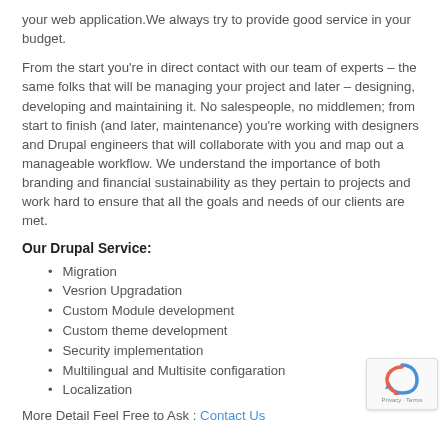your web application.We always try to provide good service in your budget.
From the start you’re in direct contact with our team of experts – the same folks that will be managing your project and later – designing, developing and maintaining it. No salespeople, no middlemen; from start to finish (and later, maintenance) you’re working with designers and Drupal engineers that will collaborate with you and map out a manageable workflow. We understand the importance of both branding and financial sustainability as they pertain to projects and work hard to ensure that all the goals and needs of our clients are met.
Our Drupal Service:
Migration
Vesrion Upgradation
Custom Module development
Custom theme development
Security implementation
Multilingual and Multisite configaration
Localization
More Detail Feel Free to Ask : Contact Us
[Figure (logo): reCAPTCHA badge with Privacy and Terms links]